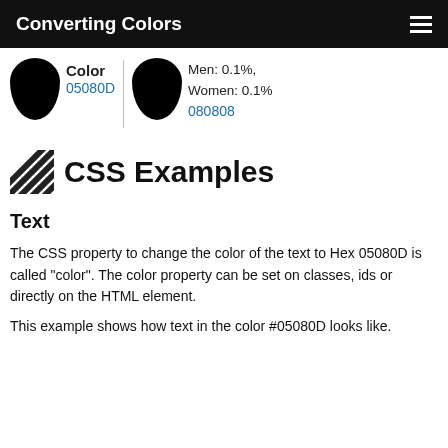Converting Colors
Color
05080D
Men: 0.1%, Women: 0.1%
080808
CSS Examples
Text
The CSS property to change the color of the text to Hex 05080D is called "color". The color property can be set on classes, ids or directly on the HTML element.
This example shows how text in the color #05080D looks like.